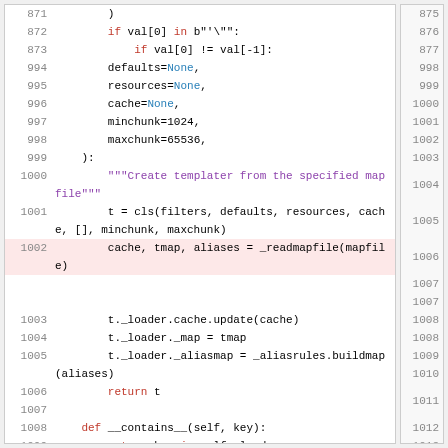[Figure (screenshot): Code viewer showing Python source code lines 871-1010 on left panel with corresponding right-side line numbers 875-1015. Line 1002 is highlighted in pink showing 'cache, tmap, aliases = _readmapfile(mapfile)'.]